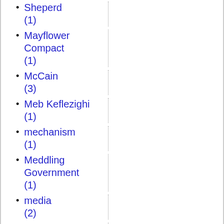Sheperd (1)
Mayflower Compact (1)
McCain (3)
Meb Keflezighi (1)
mechanism (1)
Meddling Government (1)
media (2)
Mediaeval Studies (1)
medical ethics (1)
medicine (4)